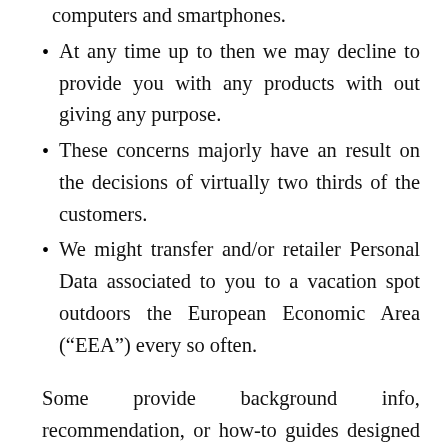computers and smartphones.
At any time up to then we may decline to provide you with any products with out giving any purpose.
These concerns majorly have an result on the decisions of virtually two thirds of the customers.
We might transfer and/or retailer Personal Data associated to you to a vacation spot outdoors the European Economic Area (“EEA”) every so often.
Some provide background info, recommendation, or how-to guides designed to assist consumers decide which product to buy. Some stores even allow prospects to comment Online Shop or rate their gadgets. There are additionally devoted